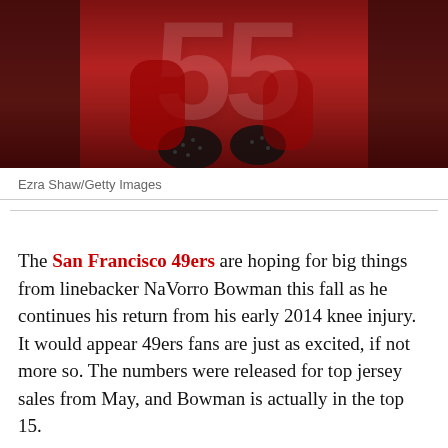[Figure (photo): A San Francisco 49ers player wearing a red jersey with number 55, shown from the torso down, wearing black gloves. Photo taken during a game.]
Ezra Shaw/Getty Images
The San Francisco 49ers are hoping for big things from linebacker NaVorro Bowman this fall as he continues his return from his early 2014 knee injury. It would appear 49ers fans are just as excited, if not more so. The numbers were released for top jersey sales from May, and Bowman is actually in the top 15.